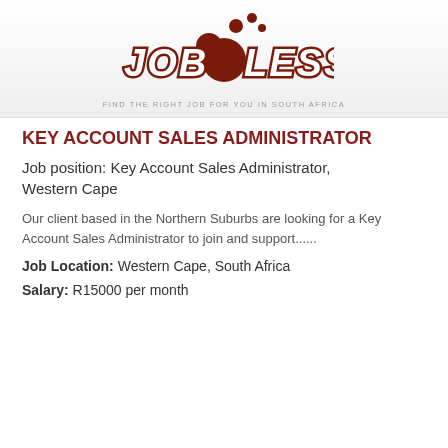[Figure (logo): Jobless logo with decorative bubble font text 'JOB LESS' in dark red/brown with circular dot decorations]
FIND THE RIGHT JOB FOR YOU IN SOUTH AFRICA
KEY ACCOUNT SALES ADMINISTRATOR
Job position: Key Account Sales Administrator, Western Cape
Our client based in the Northern Suburbs are looking for a Key Account Sales Administrator to join and support......
Job Location: Western Cape, South Africa
Salary: R15000 per month